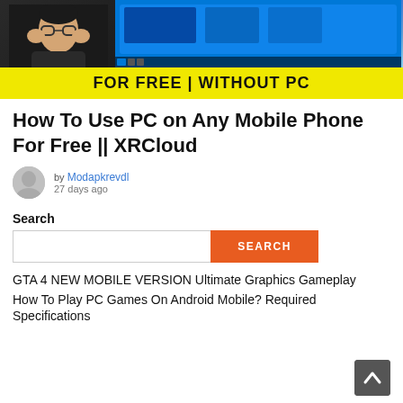[Figure (photo): YouTube thumbnail showing a person with hands on face on left, a Windows desktop on a tablet on the right, with a yellow banner reading 'FOR FREE | WITHOUT PC' at the bottom]
How To Use PC on Any Mobile Phone For Free || XRCloud
by Modapkrevdl
27 days ago
Search
SEARCH
GTA 4 NEW MOBILE VERSION Ultimate Graphics Gameplay
How To Play PC Games On Android Mobile? Required Specifications